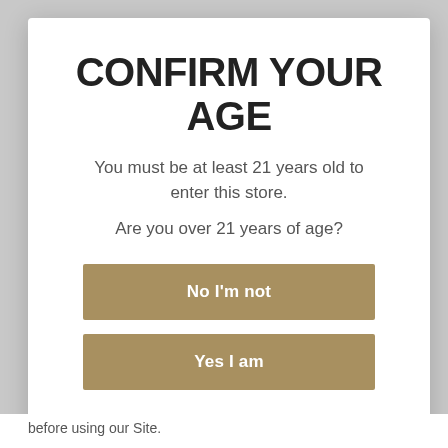CONFIRM YOUR AGE
You must be at least 21 years old to enter this store.
Are you over 21 years of age?
No I'm not
Yes I am
before using our Site.